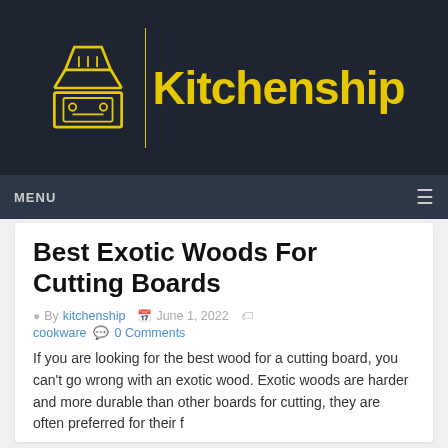[Figure (logo): Kitchenship logo: yellow kitchen appliance icon with vertical divider line and 'Kitchenship' text in yellow on dark background]
MENU ☰
Best Exotic Woods For Cutting Boards
By kitchenship   June 1, 2022   cookware   0 Comments
If you are looking for the best wood for a cutting board, you can't go wrong with an exotic wood. Exotic woods are harder and more durable than other boards for cutting, they are often preferred for their f…